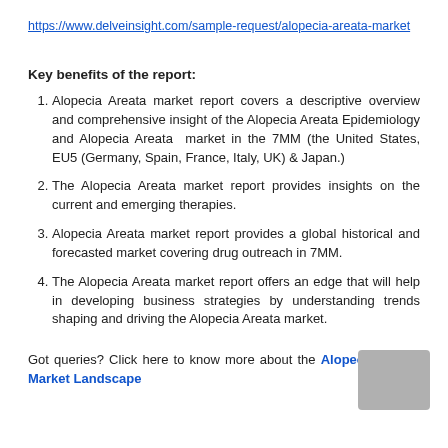https://www.delveinsight.com/sample-request/alopecia-areata-market
Key benefits of the report:
Alopecia Areata market report covers a descriptive overview and comprehensive insight of the Alopecia Areata Epidemiology and Alopecia Areata  market in the 7MM (the United States, EU5 (Germany, Spain, France, Italy, UK) & Japan.)
The Alopecia Areata market report provides insights on the current and emerging therapies.
Alopecia Areata market report provides a global historical and forecasted market covering drug outreach in 7MM.
The Alopecia Areata market report offers an edge that will help in developing business strategies by understanding trends shaping and driving the Alopecia Areata market.
Got queries? Click here to know more about the Alopecia Areata Market Landscape